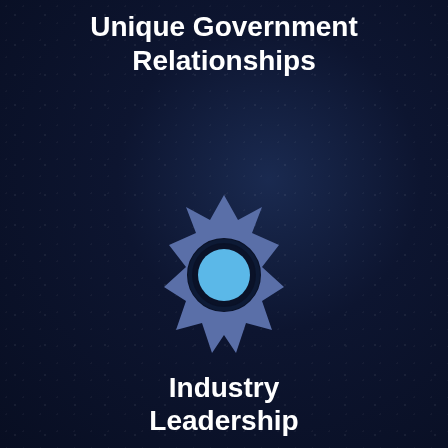Unique Government Relationships
[Figure (illustration): A stylized sun/star icon with 8 pointed tips in slate blue/purple color, containing a dark navy ring and a light blue circle in the center, resembling a badge or emblem.]
Industry Leadership